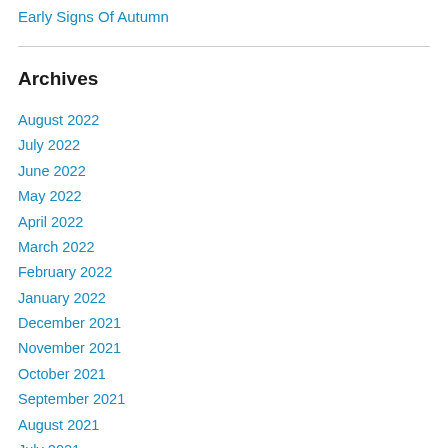Early Signs Of Autumn
Archives
August 2022
July 2022
June 2022
May 2022
April 2022
March 2022
February 2022
January 2022
December 2021
November 2021
October 2021
September 2021
August 2021
July 2021
June 2021